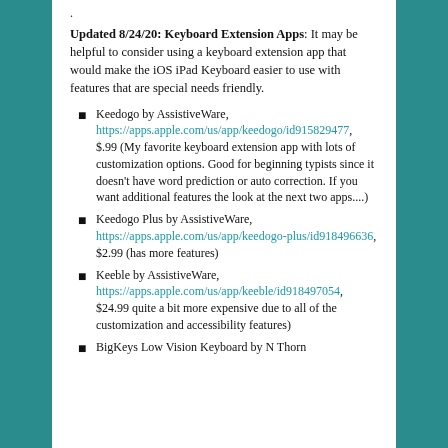.
Updated 8/24/20: Keyboard Extension Apps: It may be helpful to consider using a keyboard extension app that would make the iOS iPad Keyboard easier to use with features that are special needs friendly.
Keedogo by AssistiveWare, https://apps.apple.com/us/app/keedogo/id915829477, $.99 (My favorite keyboard extension app with lots of customization options. Good for beginning typists since it doesn't have word prediction or auto correction. If you want additional features the look at the next two apps....
Keedogo Plus by AssistiveWare, https://apps.apple.com/us/app/keedogo-plus/id918496636, $2.99 (has more features)
Keeble by AssistiveWare, https://apps.apple.com/us/app/keeble/id918497054, $24.99 quite a bit more expensive due to all of the customization and accessibility features)
BigKeys Low Vision Keyboard by N Thorn